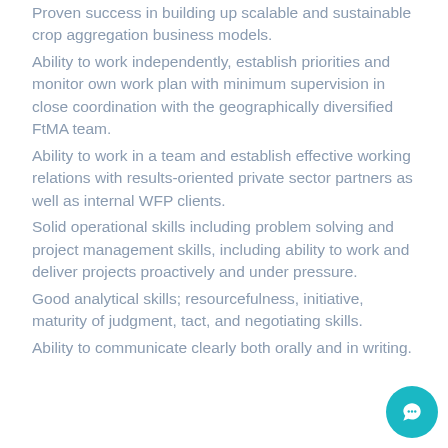Proven success in building up scalable and sustainable crop aggregation business models.
Ability to work independently, establish priorities and monitor own work plan with minimum supervision in close coordination with the geographically diversified FtMA team.
Ability to work in a team and establish effective working relations with results-oriented private sector partners as well as internal WFP clients.
Solid operational skills including problem solving and project management skills, including ability to work and deliver projects proactively and under pressure.
Good analytical skills; resourcefulness, initiative, maturity of judgment, tact, and negotiating skills.
Ability to communicate clearly both orally and in writing.